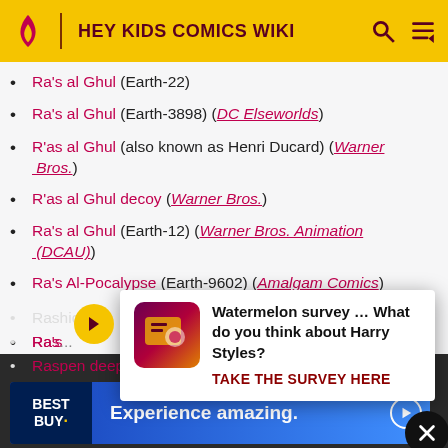HEY KIDS COMICS WIKI
Ra's al Ghul (Earth-22)
Ra's al Ghul (Earth-3898) (DC Elseworlds)
R'as al Ghul (also known as Henri Ducard) (Warner Bros.)
R'as al Ghul decoy (Warner Bros.)
Ra's al Ghul (Earth-12) (Warner Bros. Animation (DCAU))
Ra's Al-Pocalypse (Earth-9602) (Amalgam Comics)
Ra's [...] ce S[...]
R[...]
Rashid
Ras[...]
Raspen Deep[...]
[Figure (screenshot): Survey popup: Watermelon survey ... What do you think about Harry Styles? TAKE THE SURVEY HERE]
[Figure (screenshot): Best Buy advertisement banner: Experience amazing.]